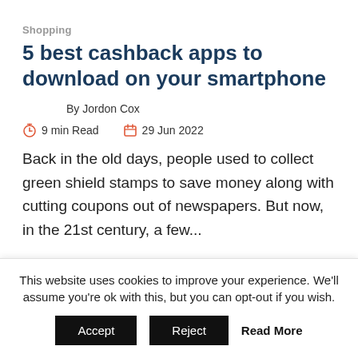Shopping
5 best cashback apps to download on your smartphone
By Jordon Cox
9 min Read   29 Jun 2022
Back in the old days, people used to collect green shield stamps to save money along with cutting coupons out of newspapers. But now, in the 21st century, a few...
This website uses cookies to improve your experience. We'll assume you're ok with this, but you can opt-out if you wish.